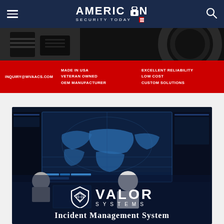AMERICAN SECURITY TODAY
[Figure (photo): Advertisement banner for WVAACS showing server hardware with red bar containing text: INQUIRY@WVAACS.COM | MADE IN USA | VETERAN OWNED | OEM MANUFACTURER | EXCELLENT RELIABILITY | LOW COST | CUSTOM SOLUTIONS]
[Figure (photo): Advertisement for Valor Systems Incident Management System showing two people working at a security operations center with large world map display screens. Valor Systems shield logo and text overlay at bottom reading INCIDENT MANAGEMENT SYSTEM]